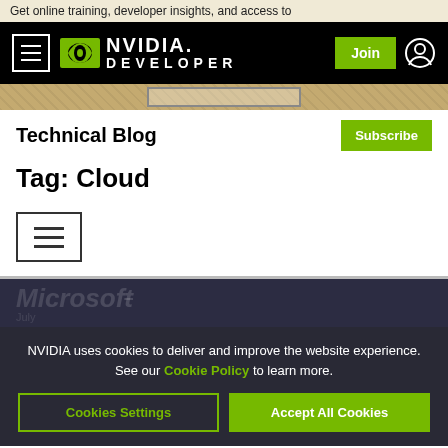Get online training, developer insights, and access to
[Figure (screenshot): NVIDIA Developer navigation bar with hamburger menu, NVIDIA logo with green eye icon, DEVELOPER text, Join button, and user icon on black background]
Technical Blog
Tag: Cloud
[Figure (other): Hamburger menu icon with black border]
NVIDIA uses cookies to deliver and improve the website experience. See our Cookie Policy to learn more.
Cookies Settings  Accept All Cookies